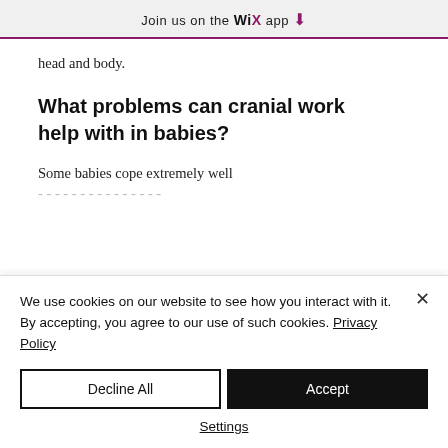Join us on the WiX app ↓
head and body.
What problems can cranial work help with in babies?
Some babies cope extremely well
We use cookies on our website to see how you interact with it. By accepting, you agree to our use of such cookies. Privacy Policy
Decline All
Accept
Settings